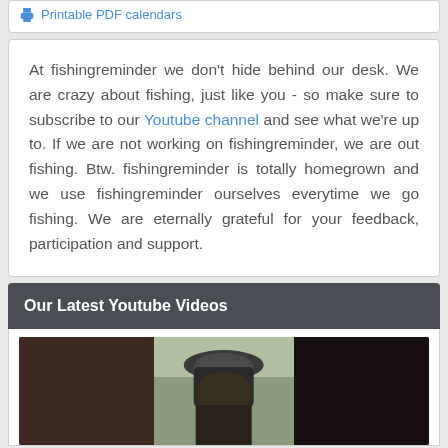Printable PDF calendars
At fishingreminder we don't hide behind our desk. We are crazy about fishing, just like you - so make sure to subscribe to our Youtube channel and see what we're up to. If we are not working on fishingreminder, we are out fishing. Btw. fishingreminder is totally homegrown and we use fishingreminder ourselves everytime we go fishing. We are eternally grateful for your feedback, participation and support.
Our Latest Youtube Videos
[Figure (photo): Video thumbnail showing a man in a baseball cap working with fishing equipment, outdoors background visible in center panel]